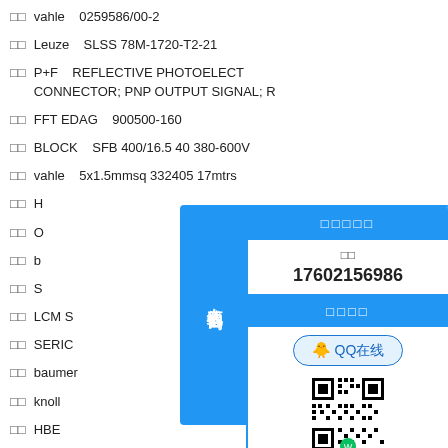□□   vahle   0259586/00-2
□□   Leuze   SLSS 78M-1720-T2-21
□□   P+F   REFLECTIVE PHOTOELECT CONNECTOR; PNP OUTPUT SIGNAL; R
□□   FFT EDAG   900500-160
□□   BLOCK   SFB 400/16.5 40 380-600V
□□   vahle   5x1.5mmsq 332405 17mtrs
□□   H...
□□   O...
□□   b...
□□   S...
□□   LCM S...
□□   SERIC...
□□   baumer...
□□   knoll
□□   HBE
□□   ProMin...
□□   Elmess...
□□   rexroth...
[Figure (infographic): Online consultation overlay panel with blue tab labeled '在线咨询' with arrow, and a white panel showing phone number 17602156986 and QQ online button and QR code]